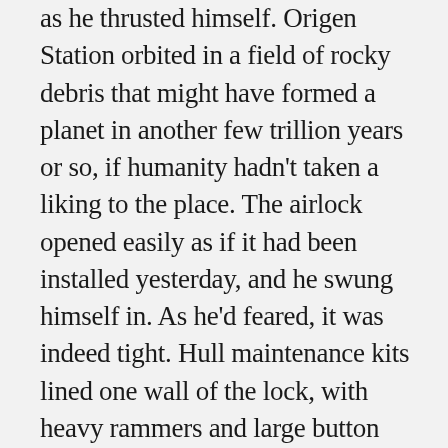as he thrusted himself. Origen Station orbited in a field of rocky debris that might have formed a planet in another few trillion years or so, if humanity hadn't taken a liking to the place. The airlock opened easily as if it had been installed yesterday, and he swung himself in. As he'd feared, it was indeed tight. Hull maintenance kits lined one wall of the lock, with heavy rammers and large button drills on the other. Even the ceiling held spare O2 cartridges and suit patch kits. He snagged one of the latter on general principle, hanging it from his belt while he waited for the lock to cycle him in.
He stopped to take stock once inside the station again. The danger was